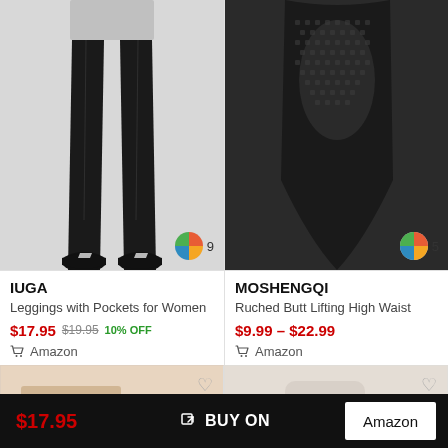[Figure (photo): Black leggings product photo showing legs with Nike sneakers on light gray background, color variant badge showing 9 colors]
IUGA
Leggings with Pockets for Women
$17.95  $19.95  10% OFF
Amazon
[Figure (photo): Black textured ruched leggings product photo on dark background, color variant badge showing 5 colors]
MOSHENGQI
Ruched Butt Lifting High Waist
$9.99 – $22.99
Amazon
[Figure (photo): Partial product image - bottom row left card showing skin-toned fabric]
[Figure (photo): Partial product image - bottom row right card]
$17.95  BUY ON  Amazon